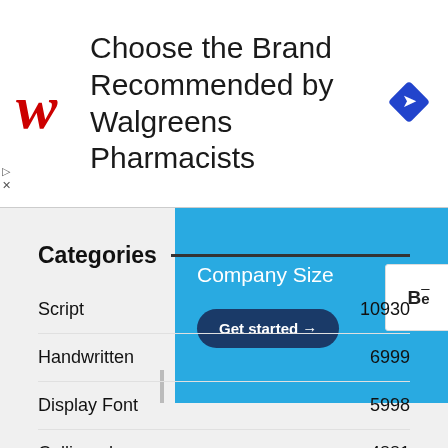[Figure (advertisement): Walgreens advertisement banner: 'Choose the Brand Recommended by Walgreens Pharmacists' with Walgreens cursive W logo on left and blue diamond navigation icon on right]
[Figure (screenshot): Blue UI section showing 'Company Size' header and a dark blue 'Get started →' rounded button, with a white collapse/chevron button on the left side]
[Figure (screenshot): Two social sharing icon boxes: Behance (Be) and Facebook (f)]
Categories
Script  10930
Handwritten  6999
Display Font  5998
Calligraphy  4881